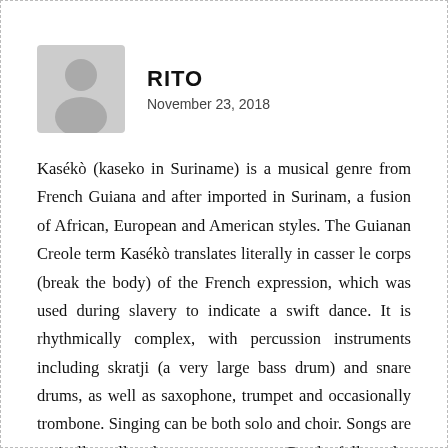[Figure (illustration): Grey placeholder avatar icon showing a silhouette of a person (head and shoulders), used as a profile picture.]
RITO
November 23, 2018
Kasékò (kaseko in Suriname) is a musical genre from French Guiana and after imported in Surinam, a fusion of African, European and American styles. The Guianan Creole term Kasékò translates literally in casser le corps (break the body) of the French expression, which was used during slavery to indicate a swift dance. It is rhythmically complex, with percussion instruments including skratji (a very large bass drum) and snare drums, as well as saxophone, trumpet and occasionally trombone. Singing can be both solo and choir. Songs are typically call-and-response, as are Creole folk styles from the area, such as kawina.
Kaseko first evolved out of Bigi Pokoe, which was a 1930s' style played by large brass bands during festivals, strongly influenced by Dixieland jazz. Later, calypso, rock and roll